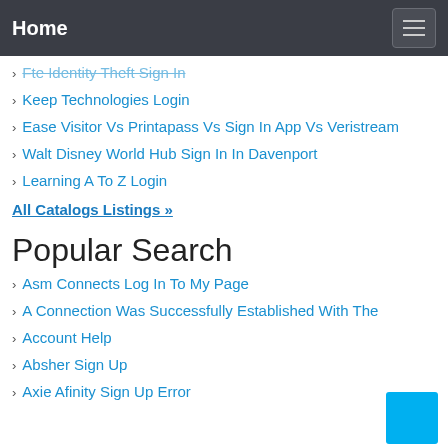Home
Fte Identity Theft Sign In
Keep Technologies Login
Ease Visitor Vs Printapass Vs Sign In App Vs Veristream
Walt Disney World Hub Sign In In Davenport
Learning A To Z Login
All Catalogs Listings »
Popular Search
Asm Connects Log In To My Page
A Connection Was Successfully Established With The
Account Help
Absher Sign Up
Axie Afinity Sign Up Error